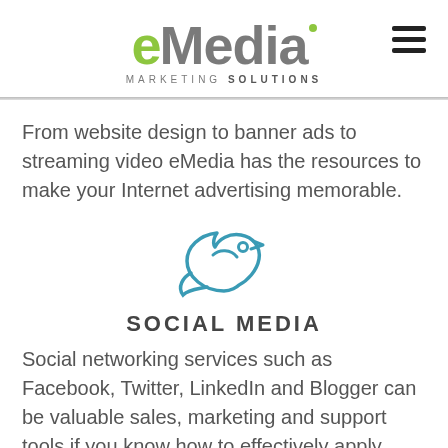eMedia Marketing Solutions
From website design to banner ads to streaming video eMedia has the resources to make your Internet advertising memorable.
[Figure (illustration): A teal/blue outline illustration of a bird (twitter-style bird icon)]
SOCIAL MEDIA
Social networking services such as Facebook, Twitter, LinkedIn and Blogger can be valuable sales, marketing and support tools if you know how to effectively apply them to your...